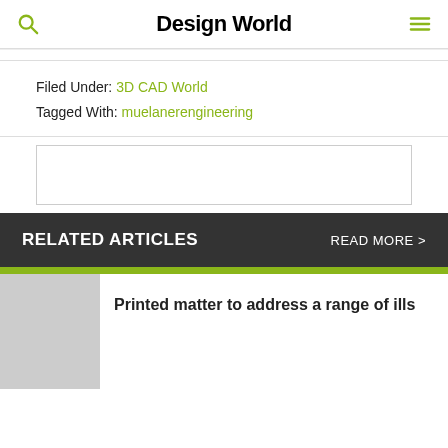Design World
Filed Under: 3D CAD World
Tagged With: muelanerengineering
[Figure (other): Advertisement box, empty/placeholder]
RELATED ARTICLES
READ MORE >
Printed matter to address a range of ills